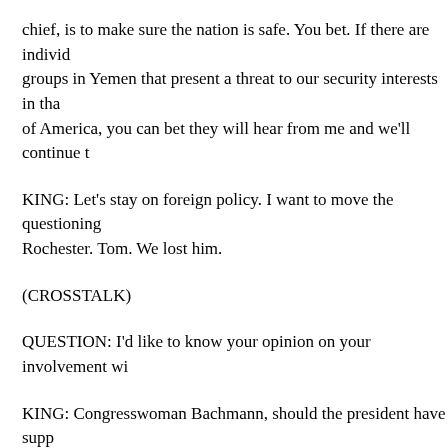chief, is to make sure the nation is safe. You bet. If there are indiv- groups in Yemen that present a threat to our security interests in tha- of America, you can bet they will hear from me and we'll continue t
KING: Let's stay on foreign policy. I want to move the questioning Rochester. Tom. We lost him.
(CROSSTALK)
QUESTION: I'd like to know your opinion on your involvement wi
KING: Congresswoman Bachmann, should the president have supp- presence, but now a NATO operation? Was that the right thing to d- interest of the United States of America?
BACHMANN: No, I don't believe so it is. That isn't just my opinio